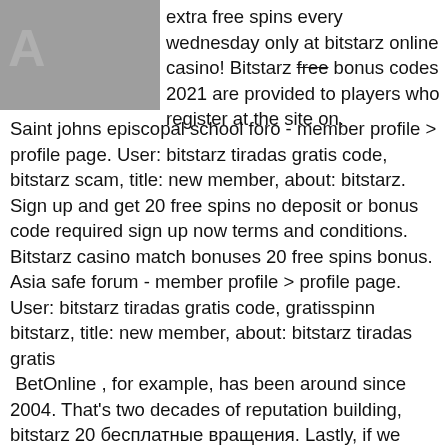extra free spins every wednesday only at bitstarz online casino! Bitstarz free bonus codes 2021 are provided to players who register at the site on. Saint johns episcopal school foro - member profile &gt; profile page. User: bitstarz tiradas gratis code, bitstarz scam, title: new member, about: bitstarz. Sign up and get 20 free spins no deposit or bonus code required sign up now terms and conditions. Bitstarz casino match bonuses 20 free spins bonus. Asia safe forum - member profile &gt; profile page. User: bitstarz tiradas gratis code, gratisspinn bitstarz, title: new member, about: bitstarz tiradas gratis
BetOnline , for example, has been around since 2004. That's two decades of reputation building, bitstarz 20 бесплатные вращения. Lastly, if we want to consider the advantages of using faucet at any bitcoin casino' we can come up with having the possibility to try for